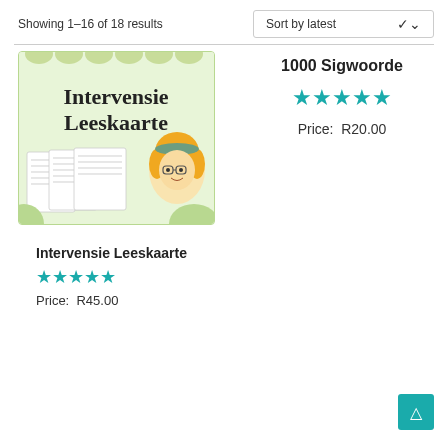Showing 1–16 of 18 results
Sort by latest
[Figure (illustration): Product thumbnail for Intervensie Leeskaarte showing worksheets and a cartoon girl with a book]
1000 Sigwoorde
★★★★★ (5 stars)
Price:  R20.00
Intervensie Leeskaarte
★★★★★ (5 stars)
Price:  R45.00